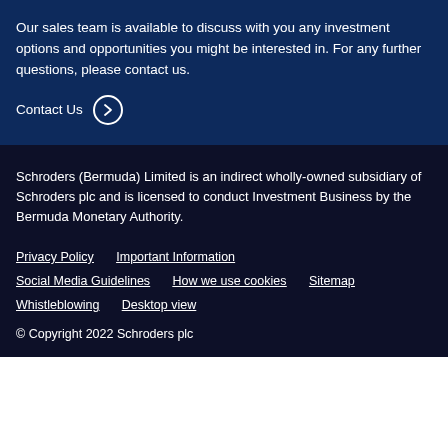Our sales team is available to discuss with you any investment options and opportunities you might be interested in. For any further questions, please contact us.
Contact Us →
Schroders (Bermuda) Limited is an indirect wholly-owned subsidiary of Schroders plc and is licensed to conduct Investment Business by the Bermuda Monetary Authority.
Privacy Policy   Important Information   Social Media Guidelines   How we use cookies   Sitemap   Whistleblowing   Desktop view
© Copyright 2022 Schroders plc